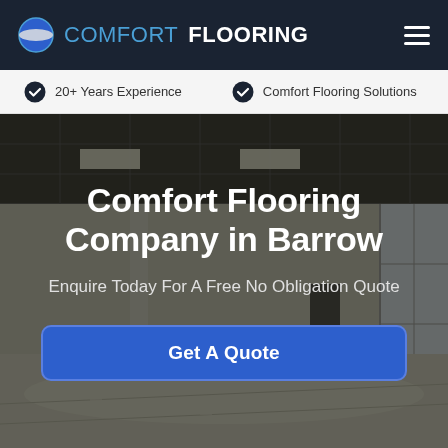COMFORT FLOORING
20+ Years Experience
Comfort Flooring Solutions
[Figure (photo): Interior of a large empty commercial building with polished floors, exposed ceiling grid, and large windows on the right side, serving as hero background image]
Comfort Flooring Company in Barrow
Enquire Today For A Free No Obligation Quote
Get A Quote